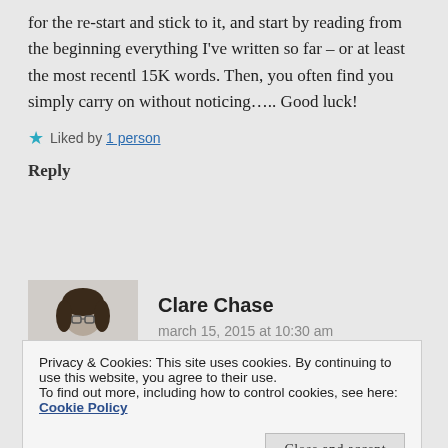for the re-start and stick to it, and start by reading from the beginning everything I've written so far – or at least the most recentl 15K words. Then, you often find you simply carry on without noticing….. Good luck!
★ Liked by 1 person
Reply
Clare Chase
march 15, 2015 at 10:30 am
Privacy & Cookies: This site uses cookies. By continuing to use this website, you agree to their use.
To find out more, including how to control cookies, see here: Cookie Policy
Close and accept
★ Like